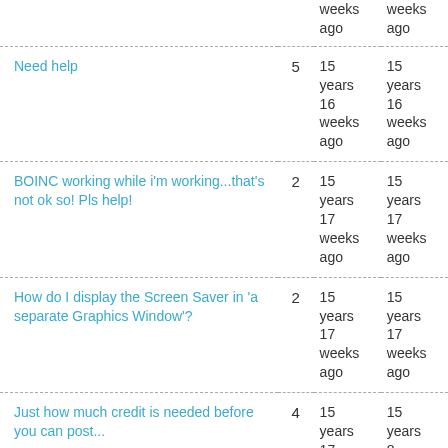| Topic | Replies | Created | Last post |
| --- | --- | --- | --- |
| Need help | 5 | 15 years 16 weeks ago | 15 years 16 weeks ago |
| BOINC working while i'm working...that's not ok so! Pls help! | 2 | 15 years 17 weeks ago | 15 years 17 weeks ago |
| How do I display the Screen Saver in 'a separate Graphics Window'? | 2 | 15 years 17 weeks ago | 15 years 17 weeks ago |
| Just how much credit is needed before you can post... | 4 | 15 years 17 weeks ago | 15 years 8 weeks ago |
| Client optimisation | 2 | 15 years | 15 years |